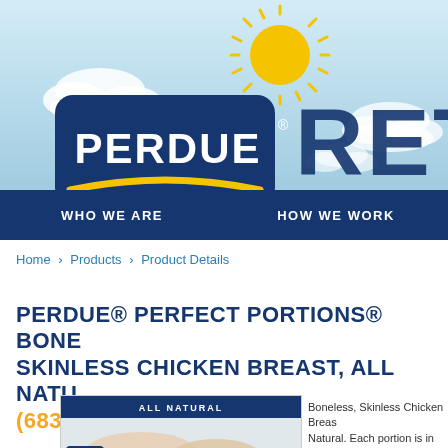[Figure (illustration): Perdue brand header banner with light blue sky background, white clouds, yellow sun, Perdue logo (dark blue rounded rectangle with white PERDUE text and yellow swoosh), and partially visible 'RETA' text (RETAIL) in large dark blue letters on the right.]
WHO WE ARE   HOW WE WORK
Home > Products > Product Details
PERDUE® PERFECT PORTIONS® BONELESS, SKINLESS CHICKEN BREAST, ALL NATURAL (6836)
[Figure (photo): Perdue Perfect Portions product package showing raw chicken breasts, with an 'ALL NATURAL' label banner at the top of the package.]
Boneless, Skinless Chicken Breast, All Natural. Each portion is in an individual... Product is packed five (5) si...